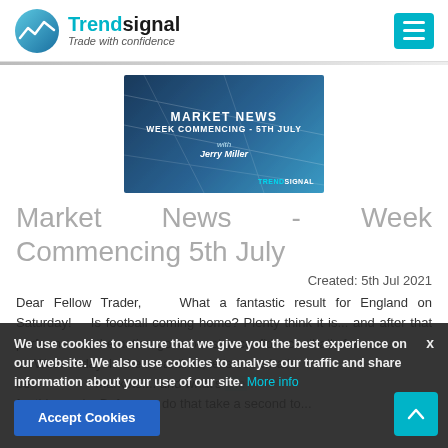Trendsignal — Trade with confidence
[Figure (illustration): Market News thumbnail image with text: MARKET NEWS / WEEK COMMENCING - 5TH JULY / with / Jerry Miller / TRENDSIGNAL logo]
Market News - Week Commencing 5th July
Created: 5th Jul 2021
Dear Fellow Trader,   What a fantastic result for England on Saturday!   Is football coming home? Plenty think it is... and after that performance, the nation got a boost in confidence, that's for sure. ... on Wednesday. In the meantime, let's see what's been...markets.... and what's the...for this week.  Before we do that take a second to...